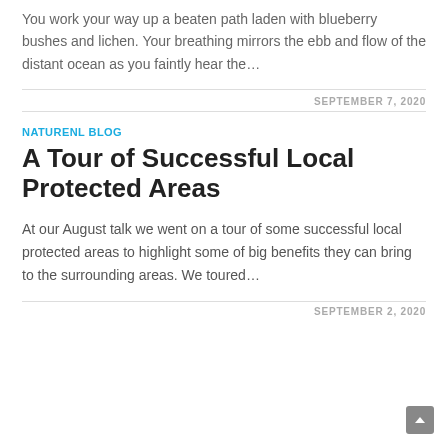You work your way up a beaten path laden with blueberry bushes and lichen. Your breathing mirrors the ebb and flow of the distant ocean as you faintly hear the…
SEPTEMBER 7, 2020
NATURENL BLOG
A Tour of Successful Local Protected Areas
At our August talk we went on a tour of some successful local protected areas to highlight some of big benefits they can bring to the surrounding areas. We toured…
SEPTEMBER 2, 2020